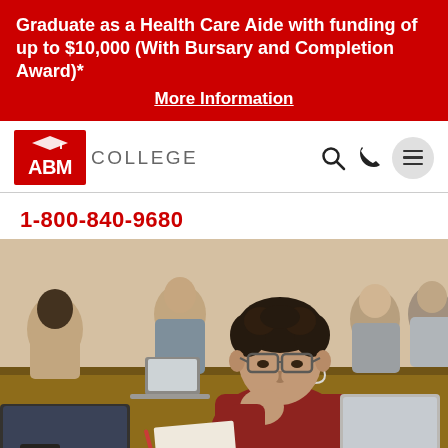Graduate as a Health Care Aide with funding of up to $10,000 (With Bursary and Completion Award)* More Information
[Figure (logo): ABM College logo with red background box showing 'ABM' text with graduation cap, and 'COLLEGE' text in gray]
1-800-840-9680
[Figure (photo): Students sitting around a table working on laptops in a classroom/study group setting. A young man with glasses wearing a red shirt is in the foreground, looking down at work.]